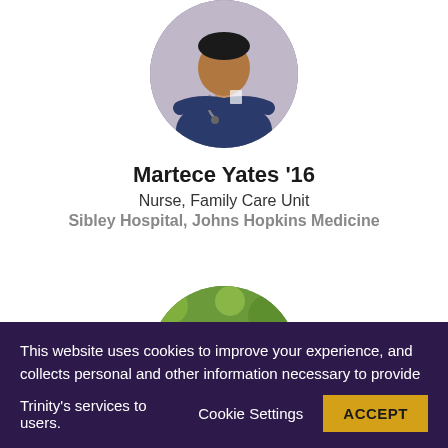[Figure (photo): Circular profile photo of a nurse in dark blue scrubs with a stethoscope and badge, arms crossed]
Martece Yates '16
Nurse, Family Care Unit
Sibley Hospital, Johns Hopkins Medicine
[Figure (photo): Circular profile photo of a person with glasses and curly hair against a green floral background]
This website uses cookies to improve your experience, and collects personal and other information necessary to provide Trinity's services to users.  Cookie Settings  ACCEPT